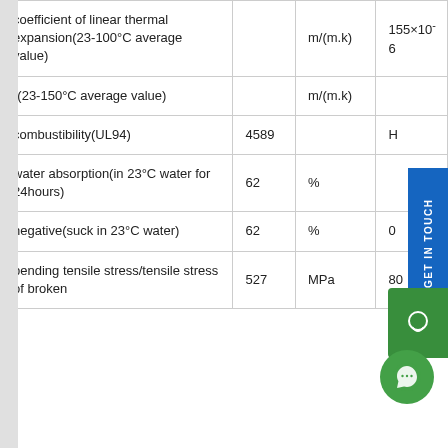| Property | Value | Unit | Reference |
| --- | --- | --- | --- |
| coefficient of linear thermal expansion(23-100°C average value) |  | m/(m.k) | 155×10⁻⁶ |
| -(23-150°C average value) |  | m/(m.k) |  |
| combustibility(UL94) | 4589 |  | H |
| water absorption(in 23°C water for 24hours) | 62 | % |  |
| negative(suck in 23°C water) | 62 | % | 0 |
| bending tensile stress/tensile stress of broken | 527 | MPa | 80 |